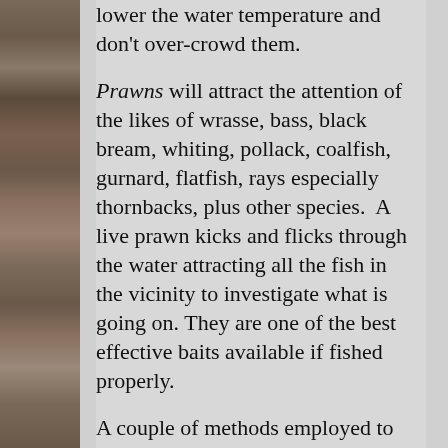[Figure (photo): A vertical strip of photos along the left edge showing prawns/fishing bait up close]
lower the water temperature and don't over-crowd them.
Prawns will attract the attention of the likes of wrasse, bass, black bream, whiting, pollack, coalfish, gurnard, flatfish, rays especially thornbacks, plus other species.  A live prawn kicks and flicks through the water attracting all the fish in the vicinity to investigate what is going on. They are one of the best effective baits available if fished properly.
A couple of methods employed to present them on a hook is to use a thin wire type aberdeen hook about size 3/0, you will need to vary the hook size depending on what fish you want to catch. A larger hook obviously hampers the prawns swimming ability, so